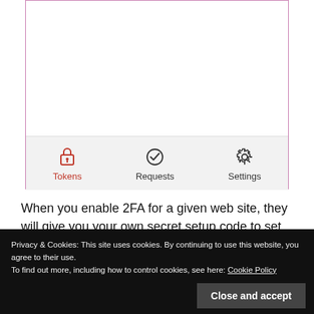[Figure (screenshot): Mobile app screenshot showing a tab bar at the bottom with three tabs: Tokens (active, red lock icon), Requests (checkmark icon), and Settings (gear icon). The Tokens tab label is red indicating active state.]
When you enable 2FA for a given web site, they will give you your own secret setup code to set up 2FA in Authy.
Privacy & Cookies: This site uses cookies. By continuing to use this website, you agree to their use.
To find out more, including how to control cookies, see here: Cookie Policy
Close and accept